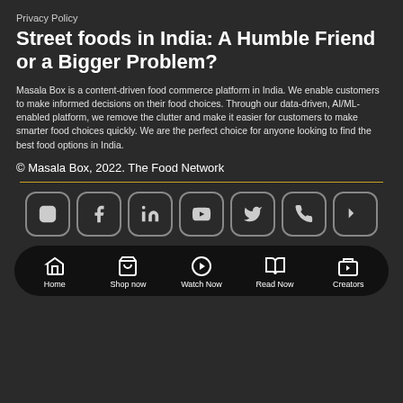Privacy Policy
Street foods in India: A Humble Friend or a Bigger Problem?
Masala Box is a content-driven food commerce platform in India. We enable customers to make informed decisions on their food choices. Through our data-driven, AI/ML-enabled platform, we remove the clutter and make it easier for customers to make smarter food choices quickly. We are the perfect choice for anyone looking to find the best food options in India.
© Masala Box, 2022. The Food Network
[Figure (infographic): Row of 7 social media icons (Instagram, Facebook, LinkedIn, YouTube, Twitter, Phone, Settings) in rounded-rectangle buttons]
Home | Shop now | Watch Now | Read Now | Creators